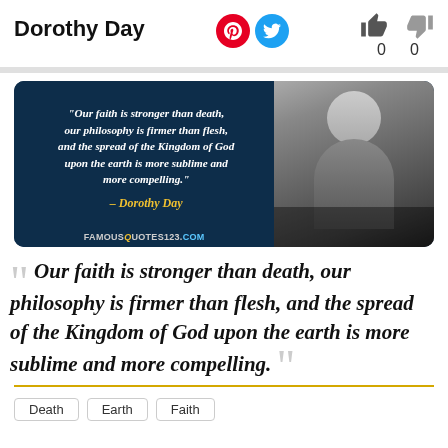Dorothy Day
[Figure (illustration): Quote banner image with dark blue background on left showing italic white quote text and yellow attribution '- Dorothy Day', and black-and-white portrait photo of Dorothy Day on right. Watermark reads FAMOUSQUOTES123.COM]
“ Our faith is stronger than death, our philosophy is firmer than flesh, and the spread of the Kingdom of God upon the earth is more sublime and more compelling. ”
Death
Earth
Faith